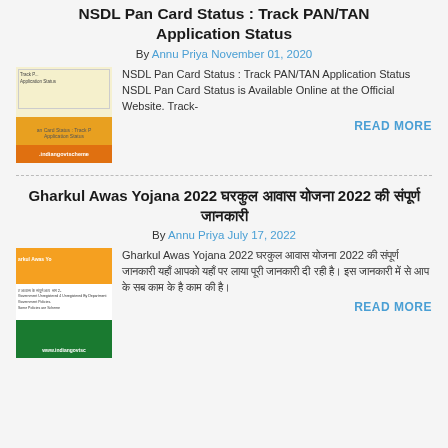NSDL Pan Card Status : Track PAN/TAN Application Status
By Annu Priya November 01, 2020
[Figure (screenshot): Thumbnail image of NSDL Pan Card Status article with indiangovtscheme.com watermark]
NSDL Pan Card Status : Track PAN/TAN Application Status NSDL Pan Card Status is Available Online at the Official Website. Track-
READ MORE
Gharkul Awas Yojana 2022 घरकुल आवास योजना 2022 की संपूर्ण जानकारी
By Annu Priya July 17, 2022
[Figure (screenshot): Thumbnail image of Gharkul Awas Yojana 2022 article with www.indiangovtsc watermark]
Gharkul Awas Yojana 2022 घरकुल आवास योजना 2022 की संपूर्ण जानकारी यहाँ आपको यहाँ पर लाया पूरी जानकारी दी रही है। इस जानकारी में से आप के सब काम के है काम की है।
READ MORE